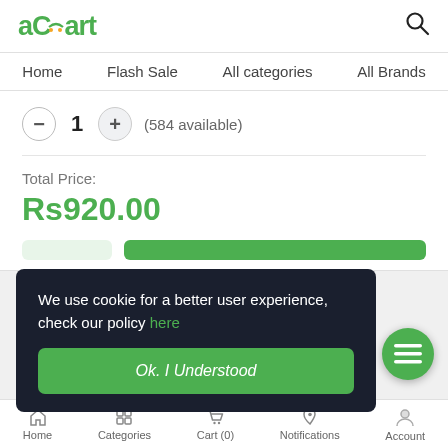[Figure (logo): aCart logo in green with shopping cart icon]
Home | Flash Sale | All categories | All Brands
— 1 + (584 available)
Total Price:
Rs920.00
We use cookie for a better user experience, check our policy here
Ok. I Understood
Home | Categories | Cart (0) | Notifications | Account